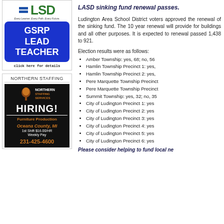[Figure (advertisement): LASD GSRP Lead Teacher ad with blue box showing GSRP LEAD TEACHER text and click here for details]
[Figure (advertisement): Northern Staffing Services hiring ad for Furniture Production in Oceana County, MI. 1st Shift $16.00/HR, Weekly Pay, 231-425-4600]
LASD sinking fund renewal passes.
Ludington Area School District voters approved the renewal of the sinking fund. The 10 year renewal will provide for the construction and repair of buildings and all other purposes. It is expected to raise $600,000 yearly. The renewal passed 1,438 to 921.
Election results were as follows:
Amber Township: yes, 68; no, 56
Hamlin Township Precinct 1: yes,
Hamlin Township Precinct 2: yes,
Pere Marquette Township Precinct
Pere Marquette Township Precinct
Summit Township: yes, 32; no, 35
City of Ludington Precinct 1: yes
City of Ludington Precinct 2: yes
City of Ludington Precinct 3: yes
City of Ludington Precinct 4: yes
City of Ludington Precinct 5: yes
City of Ludington Precinct 6: yes
Please consider helping to fund local ne